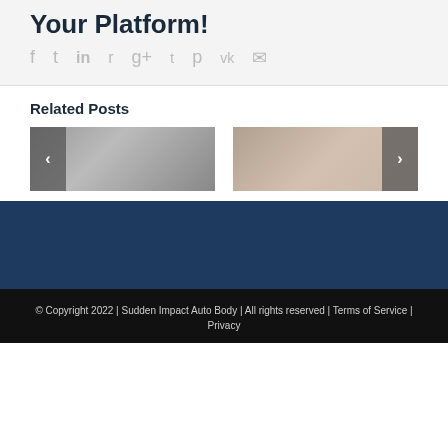Your Platform!
[Figure (infographic): Social media sharing icons: Facebook, Twitter, LinkedIn, Reddit, Google+, Tumblr, Pinterest, VK, Email]
Related Posts
[Figure (photo): Two related post thumbnail images with left and right navigation arrows. Left image shows a car interior/windshield scene. Right image shows a car exterior detail.]
© Copyright 2022 | Sudden Impact Auto Body | All rights reserved | Terms of Service | Privacy